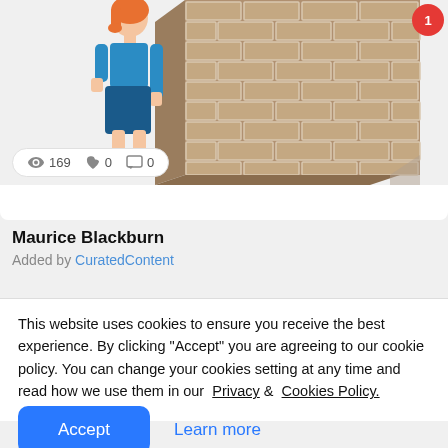[Figure (illustration): Illustration of a woman in a blue outfit standing in front of a large brick wall, with a red notification badge in the top right corner. Below the image are stats: eye icon 169, heart icon 0, comment icon 0.]
Maurice Blackburn
Added by CuratedContent
This website uses cookies to ensure you receive the best experience. By clicking "Accept" you are agreeing to our cookie policy. You can change your cookies setting at any time and read how we use them in our Privacy & Cookies Policy.